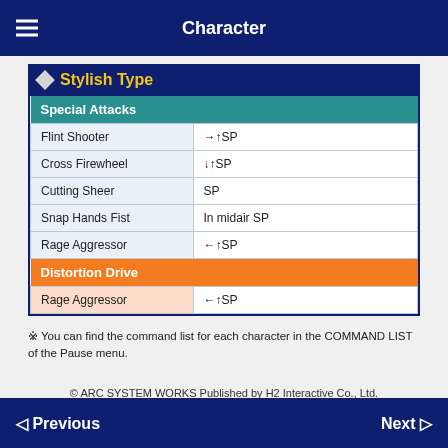Character
Stylish Type
| Special Attacks |  |
| --- | --- |
| Flint Shooter | →↑SP |
| Cross Firewheel | ↓↑SP |
| Cutting Sheer | SP |
| Snap Hands Fist | In midair SP |
| Rage Aggressor | ←↑SP |
| Distortion Drive |  |
| Rage Aggressor | ←↑SP |
※ You can find the command list for each character in the COMMAND LIST of the Pause menu.
© ARC SYSTEM WORKS Published by H2 Interactive Co., Ltd.
◁ Previous    Next ▷